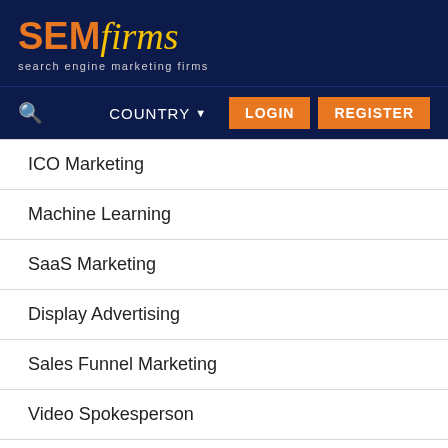[Figure (logo): SEMfirms logo with orange SEM and yellow italic firms, tagline: search engine marketing firms, on dark navy background]
COUNTRY  LOGIN  REGISTER
ICO Marketing
Machine Learning
SaaS Marketing
Display Advertising
Sales Funnel Marketing
Video Spokesperson
Media Planning & Buying
IT Services & Consulting
Staff Augmentation
Public Relations